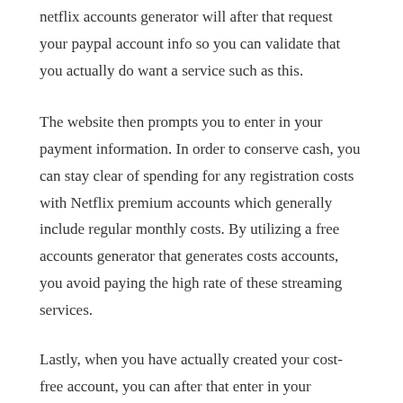netflix accounts generator will after that request your paypal account info so you can validate that you actually do want a service such as this.
The website then prompts you to enter in your payment information. In order to conserve cash, you can stay clear of spending for any registration costs with Netflix premium accounts which generally include regular monthly costs. By utilizing a free accounts generator that generates costs accounts, you avoid paying the high rate of these streaming services.
Lastly, when you have actually created your cost-free account, you can after that enter in your settlement details. When motivated, choose a routine settlement method as well as click the send button. You must get